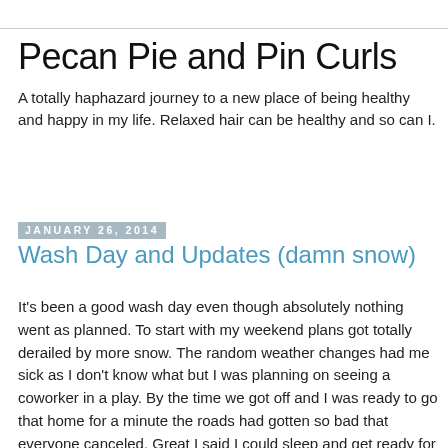Pecan Pie and Pin Curls
A totally haphazard journey to a new place of being healthy and happy in my life. Relaxed hair can be healthy and so can I.
January 26, 2014
Wash Day and Updates (damn snow)
It's been a good wash day even though absolutely nothing went as planned.  To start with my weekend plans got totally derailed by more snow.  The random weather changes had me sick as I don't know what but I was planning on seeing a coworker in a play.  By the time we got off and I was ready to go that home for a minute the roads had gotten so bad that everyone canceled.  Great I said I could sleep and get ready for swimming yesterday.  I got up, saw no cancellation for swim classes and was getting ready to get up and shower.  I called the Y to be sure and started trying to assemble my